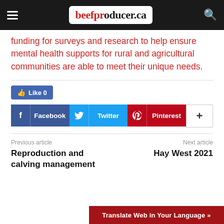beefproducer.ca
funding for surveys and research to help ensure mental health supports for rural and agricultural communities are able to meet their unique needs.
[Figure (other): Social share buttons: Like 0, Facebook, Twitter, Pinterest, and a more (+) button]
Previous article
Reproduction and calving management
Next article
Hay West 2021
Translate Web in Your Language »